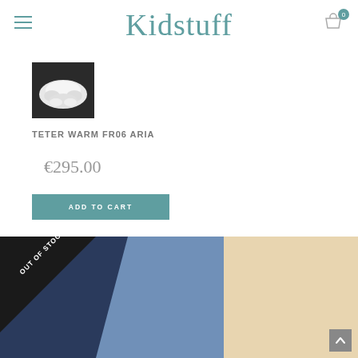Kidstuff
[Figure (photo): Product photo of white ruffled garment (TETER WARM FR06 ARIA) on dark background]
TETER WARM FR06 ARIA
€295.00
ADD TO CART
[Figure (photo): Product photo of blue and navy clothing item with 'OUT OF STOCK' ribbon overlay in black corner]